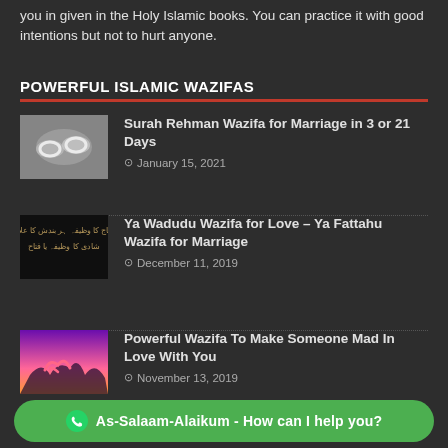you in given in the Holy Islamic books. You can practice it with good intentions but not to hurt anyone.
POWERFUL ISLAMIC WAZIFAS
Surah Rehman Wazifa for Marriage in 3 or 21 Days — January 15, 2021
Ya Wadudu Wazifa for Love – Ya Fattahu Wazifa for Marriage — December 11, 2019
Powerful Wazifa To Make Someone Mad In Love With You — November 13, 2019
As-Salaam-Alaikum - How can I help you?
Lost Love